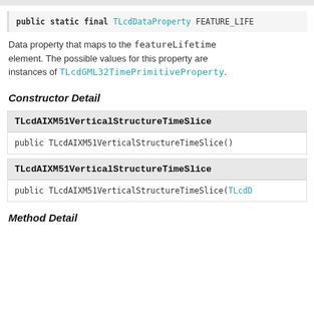public static final TLcdDataProperty FEATURE_LIFE
Data property that maps to the featureLifetime element. The possible values for this property are instances of TLcdGML32TimePrimitiveProperty.
Constructor Detail
TLcdAIXM51VerticalStructureTimeSlice
public TLcdAIXM51VerticalStructureTimeSlice()
TLcdAIXM51VerticalStructureTimeSlice
public TLcdAIXM51VerticalStructureTimeSlice(TLcdD
Method Detail